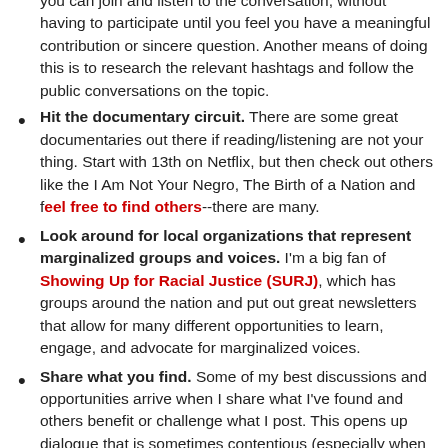you can join and listen to the conversation, without having to participate until you feel you have a meaningful contribution or sincere question. Another means of doing this is to research the relevant hashtags and follow the public conversations on the topic.
Hit the documentary circuit. There are some great documentaries out there if reading/listening are not your thing. Start with 13th on Netflix, but then check out others like the I Am Not Your Negro, The Birth of a Nation and feel free to find others--there are many.
Look around for local organizations that represent marginalized groups and voices. I'm a big fan of Showing Up for Racial Justice (SURJ), which has groups around the nation and put out great newsletters that allow for many different opportunities to learn, engage, and advocate for marginalized voices.
Share what you find. Some of my best discussions and opportunities arrive when I share what I've found and others benefit or challenge what I post. This opens up dialogue that is sometimes contentious (especially when a commentator is disregarding the view) but is always